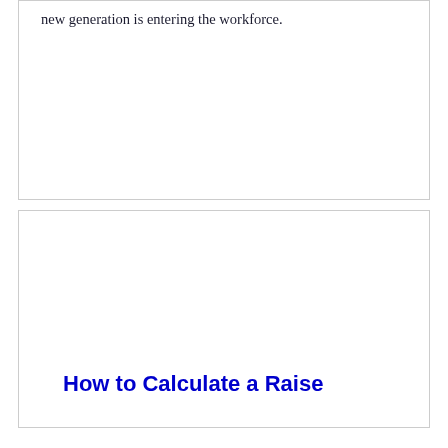new generation is entering the workforce.
How to Calculate a Raise